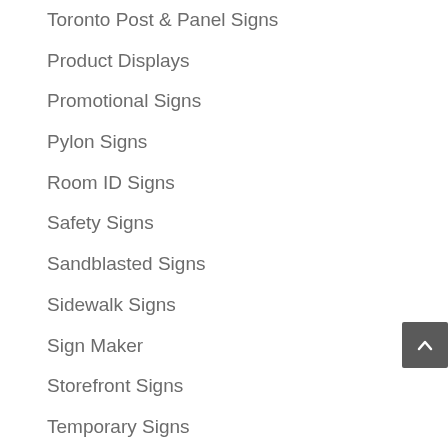Toronto Post & Panel Signs
Product Displays
Promotional Signs
Pylon Signs
Room ID Signs
Safety Signs
Sandblasted Signs
Sidewalk Signs
Sign Maker
Storefront Signs
Temporary Signs
Tenant Signs
Trade Show Displays